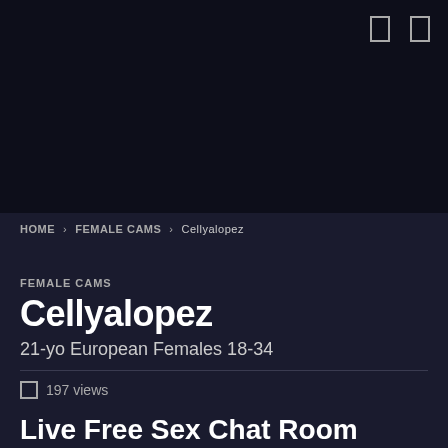[Figure (screenshot): Dark top navigation bar with two small rectangle icon buttons in upper right]
HOME » FEMALE CAMS » Cellyalopez
FEMALE CAMS
Cellyalopez
21-yo European Females 18-34
■ 197 views
Live Free Sex Chat Room With: CellyaLopez